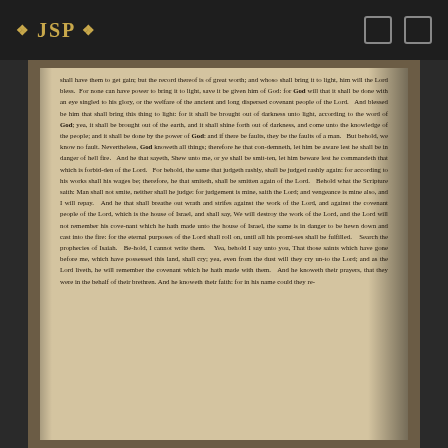JSP
[Figure (photo): Photograph of an open book page with dense typeset text in an older serif font, showing a passage of religious scripture or revelation text. The book is photographed at an angle showing the spine on the right side. The text discusses themes of bringing light from darkness, God's power, judgement, scripture, and covenant people.]
shall have them to get gain; but the record thereof is of great worth; and whoso shall bring it to light, him will the Lord bless. For none can have power to bring it to light, save it be given him of God: for God will that it shall be done with an eye singled to his glory, or the welfare of the ancient and long dispersed covenant people of the Lord. And blessed be him that shall bring this thing to light: for it shall be brought out of darkness unto light, according to the word of God; yea, it shall be brought out of the earth, and it shall shine forth out of darkness, and come unto the knowledge of the people; and it shall be done by the power of God: and if there be faults, they be the faults of a man. But behold, we know no fault. Nevertheless, God knoweth all things; therefore he that condemneth, let him be aware lest he shall be in danger of hell fire. And he that sayeth, Shew unto me, or ye shall be smitten, let him beware lest he commandeth that which is forbidden of the Lord. For behold, the same that judgeth rashly, shall be judged rashly again: for according to his works shall his wages be; therefore, he that smiteth, shall be smitten again of the Lord. Behold what the Scripture saith: Man shall not smite, neither shall he judge: for judgement is mine, saith the Lord; and vengeance is mine also, and I will repay. And he that shall breathe out wrath and strifes against the work of the Lord, and against the covenant people of the Lord, which is the house of Israel, and shall say, We will destroy the work of the Lord, and the Lord will not remember his covenant which he hath made unto the house of Israel, the same is in danger to be hewn down and cast into the fire: for the eternal purposes of the Lord shall roll on, until all his promises shall be fulfilled. Search the prophecies of Isaiah. Behold, I cannot write them. Yea, behold I say unto you, That those saints which have gone before me, which have possessed this land, shall cry; yea, even from the dust will they cry unto the Lord; and as the Lord liveth, he will remember the covenant which he hath made with them. And he knoweth their prayers, that they were in the behalf of their brethren. And he knoweth their faith: for in his name could they re-